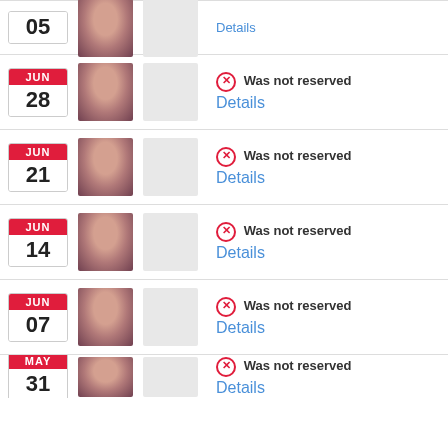05 — Details
JUN 28 — Was not reserved — Details
JUN 21 — Was not reserved — Details
JUN 14 — Was not reserved — Details
JUN 07 — Was not reserved — Details
MAY 31 — Was not reserved — Details